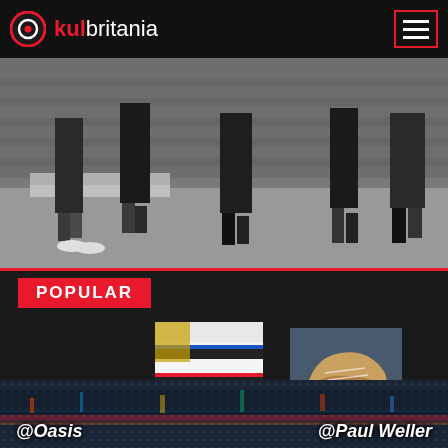kulbritania
[Figure (photo): Black and white photo of several people standing outdoors near brick steps, holding sneakers/shoes in their hands, showing their legs and feet]
POPULAR
[Figure (photo): Thumbnail image showing colorful sneakers/clothing with diagonal black and white stripes with blue, red and yellow accents]
[Figure (photo): Thumbnail image showing a golden/tan colored sneaker on a wooden surface]
@Oasis   @Paul Weller